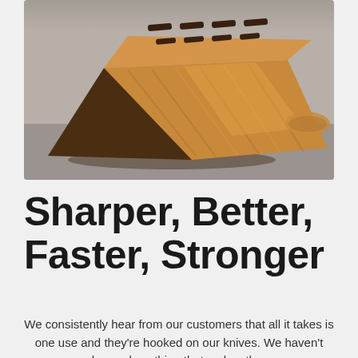[Figure (photo): Close-up photograph of a wooden knife block with multiple slots on top, made of light-colored acacia wood with visible grain patterns, sitting on a dark surface with a blurred background]
Sharper, Better, Faster, Stronger
We consistently hear from our customers that all it takes is one use and they're hooked on our knives. We haven't changed anything that makes them